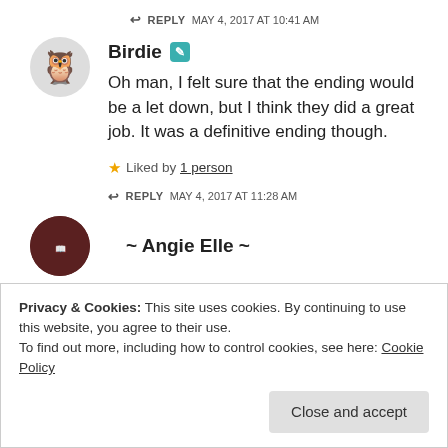↩ REPLY   MAY 4, 2017 AT 10:41 AM
Birdie
Oh man, I felt sure that the ending would be a let down, but I think they did a great job. It was a definitive ending though.
★ Liked by 1 person
↩ REPLY   MAY 4, 2017 AT 11:28 AM
~ Angie Elle ~
Privacy & Cookies: This site uses cookies. By continuing to use this website, you agree to their use.
To find out more, including how to control cookies, see here: Cookie Policy
Close and accept